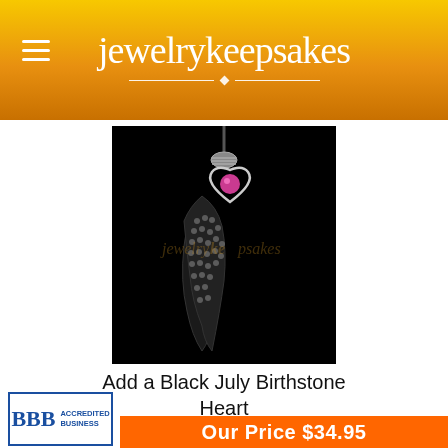jewelrykeepsakes
[Figure (photo): Dark background product photo of a black wing-shaped pendant with crystal studs and a heart charm featuring a pink July birthstone gemstone, on a cord necklace. Jewelry Keepsakes watermark visible.]
Add a Black July Birthstone Heart
[Figure (other): Five empty/outline gold star rating icons indicating no reviews yet]
[Figure (logo): BBB Accredited Business logo with blue border]
Our Price $34.95